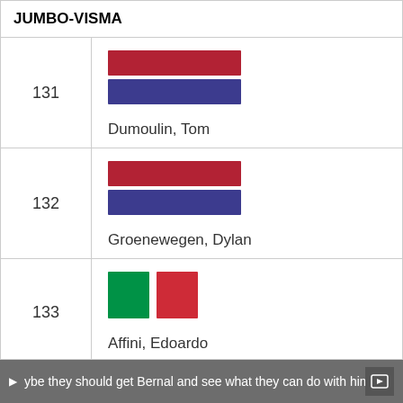JUMBO-VISMA
| # | Rider |
| --- | --- |
| 131 | Dumoulin, Tom |
| 132 | Groenewegen, Dylan |
| 133 | Affini, Edoardo |
ybe they should get Bernal and see what they can do with him